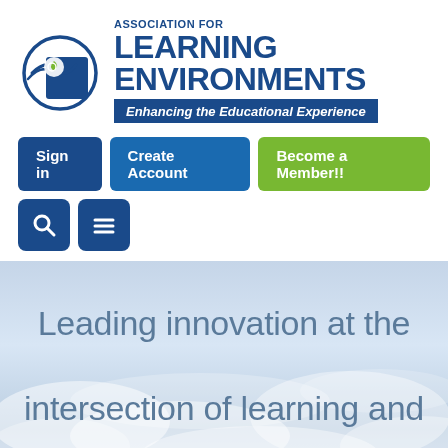[Figure (logo): Association for Learning Environments logo with circular icon featuring a leaf, dark blue square, and tagline 'Enhancing the Educational Experience']
Sign in
Create Account
Become a Member!!
[Figure (other): Search icon button (magnifying glass)]
[Figure (other): Menu icon button (hamburger)]
Leading innovation at the intersection of learning and place